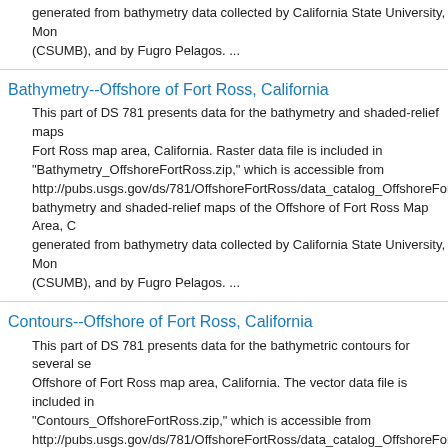generated from bathymetry data collected by California State University, Mon (CSUMB), and by Fugro Pelagos. ...
Bathymetry--Offshore of Fort Ross, California
This part of DS 781 presents data for the bathymetry and shaded-relief maps Fort Ross map area, California. Raster data file is included in "Bathymetry_OffshoreFortRoss.zip," which is accessible from http://pubs.usgs.gov/ds/781/OffshoreFortRoss/data_catalog_OffshoreFortRos bathymetry and shaded-relief maps of the Offshore of Fort Ross Map Area, C generated from bathymetry data collected by California State University, Mon (CSUMB), and by Fugro Pelagos. ...
Contours--Offshore of Fort Ross, California
This part of DS 781 presents data for the bathymetric contours for several se Offshore of Fort Ross map area, California. The vector data file is included in "Contours_OffshoreFortRoss.zip," which is accessible from http://pubs.usgs.gov/ds/781/OffshoreFortRoss/data_catalog_OffshoreFortRos interval contours of the Offshore of Fort Ross map area, California, were gene bathymetry data collected by California State University, Monterey Bay (CSU Pelagos. ...
Bathymetry Hillshade--Offshore Half Moon Bay, California
This part of DS 781 presents data for the bathymetry and shaded-relief maps Half Moon Bay map area, California (raster data file is included in "BathymetryHS_OffshoreHalfMoonBay.zip," which is accessible from